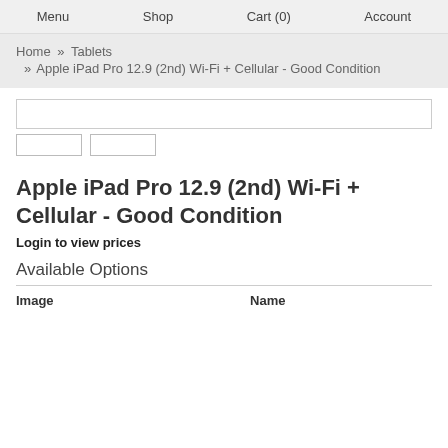Menu   Shop   Cart (0)   Account
Home » Tablets » Apple iPad Pro 12.9 (2nd) Wi-Fi + Cellular - Good Condition
[Figure (other): Product image placeholder area with a large empty image box and two thumbnail boxes below]
Apple iPad Pro 12.9 (2nd) Wi-Fi + Cellular - Good Condition
Login to view prices
Available Options
| Image | Name |
| --- | --- |